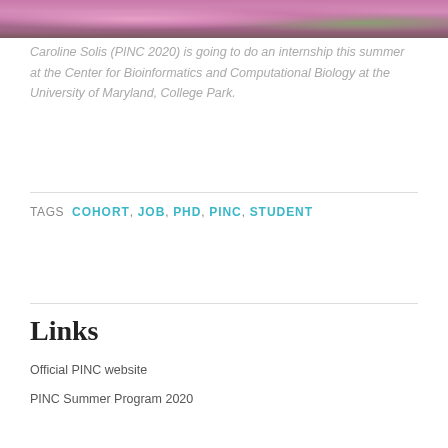[Figure (photo): Top portion of a photo showing people in pink/colorful winter clothing against a dark background]
Caroline Solis (PINC 2020) is going to do an internship this summer at the Center for Bioinformatics and Computational Biology at the University of Maryland, College Park.
TAGS  COHORT, JOB, PHD, PINC, STUDENT
Links
Official PINC website
PINC Summer Program 2020